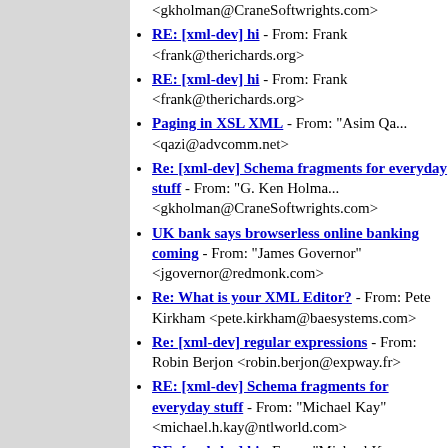RE: [xml-dev] hi - From: Frank <frank@therichards.org>
RE: [xml-dev] hi - From: Frank <frank@therichards.org>
Paging in XSL XML - From: "Asim Qa... <qazi@advcomm.net>
Re: [xml-dev] Schema fragments for everyday stuff - From: "G. Ken Holma... <gkholman@CraneSoftwrights.com>
UK bank says browserless online banking coming - From: "James Governor" <jgovernor@redmonk.com>
Re: What is your XML Editor? - From: Pete Kirkham <pete.kirkham@baesystems.com>
Re: [xml-dev] regular expressions - From: Robin Berjon <robin.berjon@expway.fr>
RE: [xml-dev] Schema fragments for everyday stuff - From: "Michael Kay" <michael.h.kay@ntlworld.com>
RE: [xml-dev] hi - From: "Michael Kay... <michael.h.kay@ntlworld.com>
Re: [xml-dev] Schema fragments for...